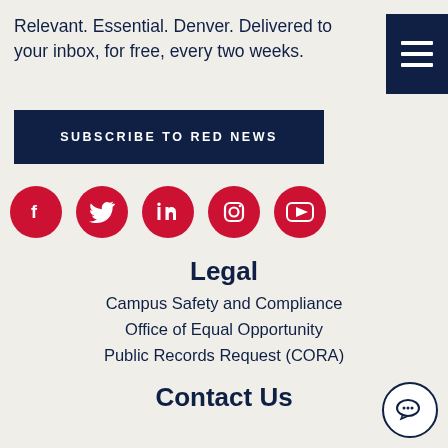Relevant. Essential. Denver. Delivered to your inbox, for free, every two weeks.
[Figure (other): Hamburger/menu icon with three horizontal white lines on a dark navy background]
SUBSCRIBE TO RED NEWS
[Figure (other): Row of five red circular social media icons: Facebook, Twitter, LinkedIn, Instagram, YouTube]
Legal
Campus Safety and Compliance
Office of Equal Opportunity
Public Records Request (CORA)
Contact Us